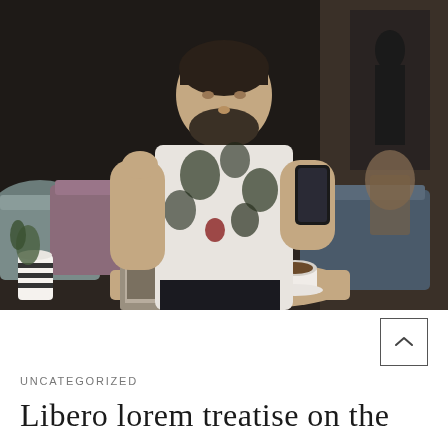[Figure (photo): A bearded man in a floral shirt sitting in a cafe, holding a smartphone and looking at a laptop on the table. There is a coffee cup and a striped mug on the table. The background shows cafe chairs and dark walls with artwork.]
UNCATEGORIZED
Libero lorem treatise on the